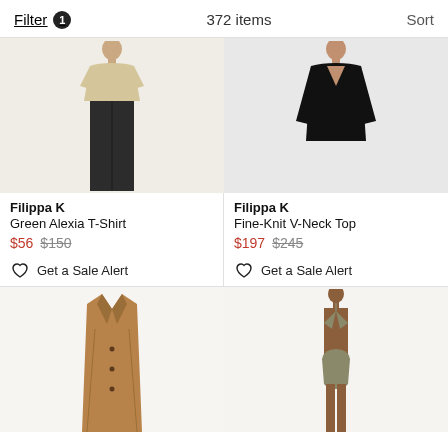Filter 1   372 items   Sort
[Figure (photo): Model wearing a beige/tan short-sleeve t-shirt with dark trousers, shown from mid-torso up]
Filippa K
Green Alexia T-Shirt
$56 $150
Get a Sale Alert
[Figure (photo): Model wearing a black fine-knit long-sleeve V-neck top, shown from shoulders up/mid-torso]
Filippa K
Fine-Knit V-Neck Top
$197 $245
Get a Sale Alert
[Figure (photo): A camel/tan colored long wool overcoat displayed on a hanger or flat, showing buttons and notched lapels]
[Figure (photo): Model wearing a sage/olive green bikini set (triangle top and high-waist bottom), shown full body]